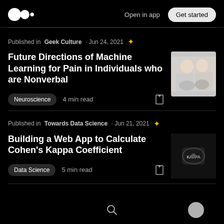Medium logo | Open in app | Get started
Published in Geek Culture · Jun 24, 2021 ✦
Future Directions of Machine Learning for Pain in Individuals who are Nonverbal
[Figure (photo): Thumbnail photo of two children]
Neuroscience  4 min read
Published in Towards Data Science · Jun 21, 2021 ✦
Building a Web App to Calculate Cohen's Kappa Coefficient
[Figure (photo): Thumbnail dark image of a glowing object]
Data Science  5 min read